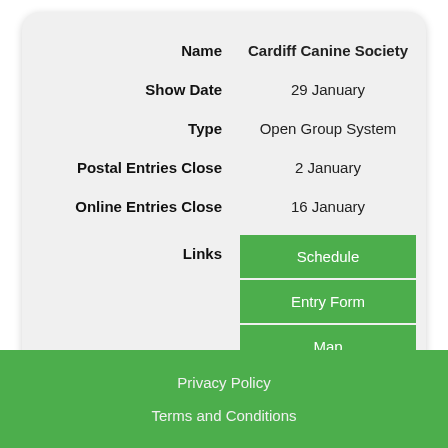| Field | Value |
| --- | --- |
| Name | Cardiff Canine Society |
| Show Date | 29 January |
| Type | Open Group System |
| Postal Entries Close | 2 January |
| Online Entries Close | 16 January |
| Links | Schedule | Entry Form | Map | Enter |
Privacy Policy
Terms and Conditions